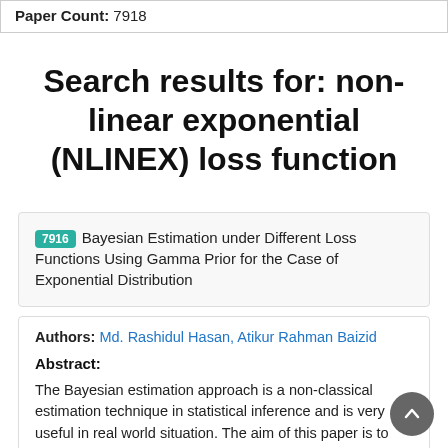Paper Count: 7918
Search results for: non-linear exponential (NLINEX) loss function
7916 Bayesian Estimation under Different Loss Functions Using Gamma Prior for the Case of Exponential Distribution
Authors: Md. Rashidul Hasan, Atikur Rahman Baizid
Abstract:
The Bayesian estimation approach is a non-classical estimation technique in statistical inference and is very useful in real world situation. The aim of this paper is to study the Bayes estimators of the parameter of